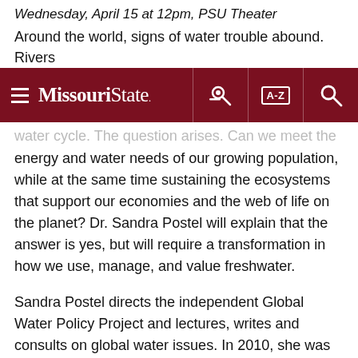Wednesday, April 15 at 12pm, PSU Theater
Around the world, signs of water trouble abound. Rivers
Missouri State — navigation bar with hamburger menu, key icon, A-Z index, and search icon
water cycle. The question arises: Can we meet the food, energy and water needs of our growing population, while at the same time sustaining the ecosystems that support our economies and the web of life on the planet?  Dr. Sandra Postel will explain that the answer is yes, but will require a transformation in how we use, manage, and value freshwater.
Sandra Postel directs the independent Global Water Policy Project and lectures, writes and consults on global water issues. In 2010, she was appointed Freshwater Fellow of the National Geographic Society, where she serves as the Society's lead water expert. Postel is co-creator of Change the Course, the national freshwater conservation and restoration campaign that is being